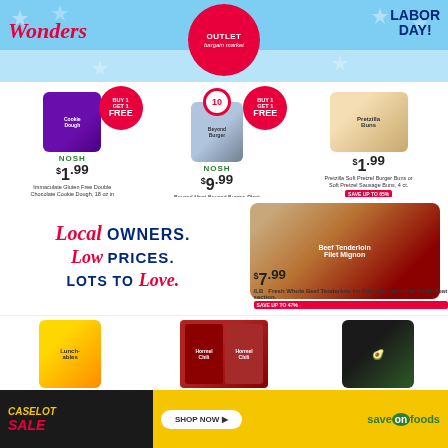[Figure (illustration): Outlet Bargain Market store flyer header with 'Wonders' script text, store logo circle, and 'Labor Day!' text on blue star background]
[Figure (photo): Immaculate Gluten Free Double Chocolate Cookie Dough with BUY 1 GET 1 FREE badge]
NOSH $1.99 Immaculate Gluten Free Double Chocolate Cookie Dough, 18 oz in the refrigerated section. Limit 3 free. SAVE UP TO 80%
[Figure (photo): Beyond Burger Plant Based Patties 10ct with BUY 1 GET 1 FREE badge]
NOSH $9.99 Beyond Meat Beyond Burger, Plant Based Patties, 10 ct in the freezer. No limit. SAVE UP TO 78%
[Figure (photo): Pretzilla Soft Pretzel Burger Buns or Soft Pretzel Sausage Buns]
$1.99 Pretzilla Soft Pretzel Burger Buns or Soft Pretzel Sausage Buns, 4 ct. SAVE UP TO 65%
Local OWNERS. Low PRICES. LOTS TO Love.
[Figure (photo): Fresh Whole Beef Tenderloin for Filet Mignon in the fresh meat section]
$7.99 /LB Fresh Whole Beef Tenderloin for Filet Mignon in the fresh meat section. SAVE UP TO 47%
[Figure (photo): Oscar Mayer Lunchables assorted varieties]
99¢ Oscar Mayer Lunchables, 8.9-8.7 oz Assorted varieties in the refrigerated section. SAVE UP TO 79%
[Figure (photo): Hormel Chili with Beans and No Beans cans]
$1.99 Hormel Chili, with Beans or No Beans, 15 oz. SAVE UP TO 46%
[Figure (photo): Hass Avocados]
2 for $1 Hass Avocados. SAVE UP TO 80%
Prices valid in store only. Items may vary by stock. While supplies last.
[Figure (infographic): Caselot Sale advertisement banner with Shop Now button and Save On Foods logo]